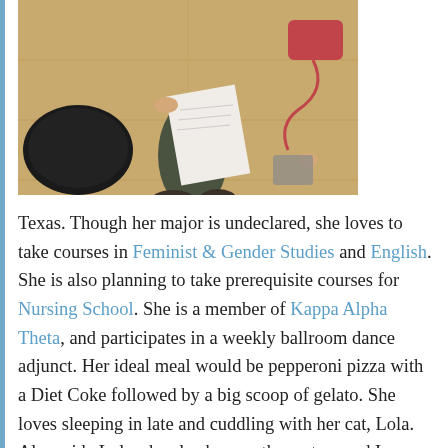[Figure (photo): Overhead/bird's-eye view photo of a person sitting on a wooden floor holding papers, with a black bag beside them and what appears to be other objects around]
Texas. Though her major is undeclared, she loves to take courses in Feminist & Gender Studies and English. She is also planning to take prerequisite courses for Nursing School. She is a member of Kappa Alpha Theta, and participates in a weekly ballroom dance adjunct. Her ideal meal would be pepperoni pizza with a Diet Coke followed by a big scoop of gelato. She loves sleeping in late and cuddling with her cat, Lola. Alongside Lola, she also has another cat named Izzy and a dog-named Molly. Fun fact, she is also a certified vinyasa yoga